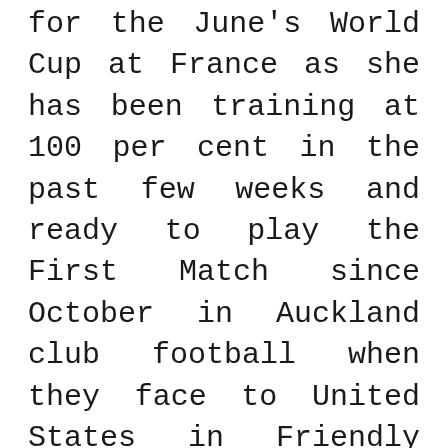for the June's World Cup at France as she has been training at 100 per cent in the past few weeks and ready to play the First Match since October in Auckland club football when they face to United States in Friendly game on 17th May.
“The toughest part of it was the mental side, because I got to a point where I was so strong and so physiologically ready according to all the experts helping me out, the physios and doctors, that my mind